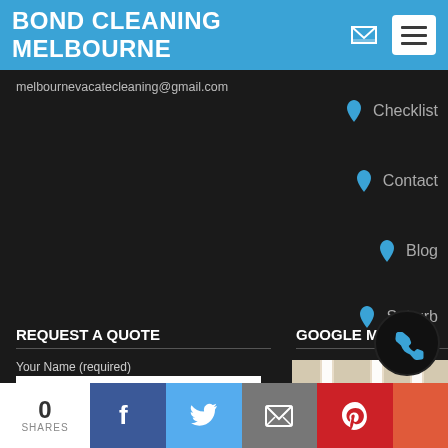BOND CLEANING MELBOURNE
melbournevacatecleaning@gmail.com
Checklist
Contact
Blog
Suburb
REQUEST A QUOTE
Your Name (required)
Your Email (required)
GOOGLE MAP
[Figure (map): Google Map showing QV Melbourne and Her Majesty's Theatre area]
0 SHARES
Facebook share button
Twitter share button
Email share button
Pinterest share button